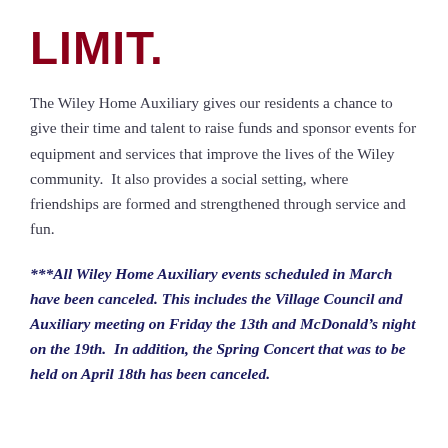LIMIT.
The Wiley Home Auxiliary gives our residents a chance to give their time and talent to raise funds and sponsor events for equipment and services that improve the lives of the Wiley community.  It also provides a social setting, where friendships are formed and strengthened through service and fun.
***All Wiley Home Auxiliary events scheduled in March have been canceled. This includes the Village Council and Auxiliary meeting on Friday the 13th and McDonald’s night on the 19th.  In addition, the Spring Concert that was to be held on April 18th has been canceled.